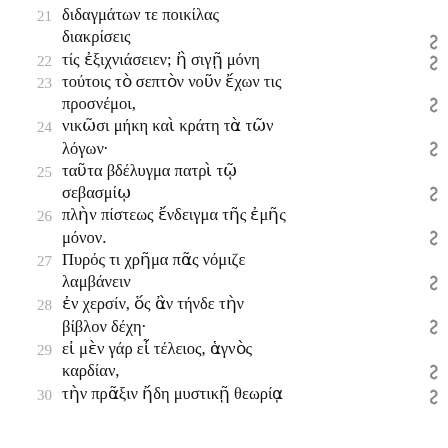21 διδαγμάτων τε ποικίλας διακρίσεις
22 τίς ἐξιχνιάσειεν; ἢ σιγῇ μόνη
23 τούτοις τὸ σεπτὸν νοῦν ἔχων τις προσνέμοι,
24 νικῶσι μήκη καὶ κράτη τὰ τῶν λόγων·
25 ταῦτα βδέλυγμα πατρὶ τῷ σεβασμίῳ
26 πλὴν πίστεως ἔνδειγμα τῆς ἐμῆς μόνον.
27 Πυρός τι χρῆμα πᾶς νόμιζε λαμβάνειν
28 ἐν χερσίν, ὅς ἂν τήνδε τὴν βίβλον δέχη·
29 εἰ μὲν γάρ εἶ τέλειος, ἁγνὸς καρδίαν,
30 τὴν πρᾶξιν ἤδη μυστικῇ θεωρίᾳ